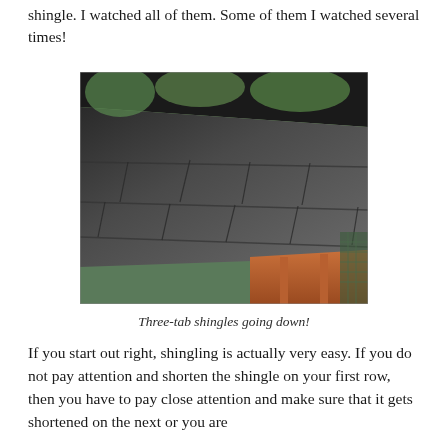shingle. I watched all of them. Some of them I watched several times!
[Figure (photo): Close-up photograph of three-tab asphalt shingles laid on a roof, with orange/red wooden structure visible at the bottom right and green trees in the background at the top.]
Three-tab shingles going down!
If you start out right, shingling is actually very easy. If you do not pay attention and shorten the shingle on your first row, then you have to pay close attention and make sure that it gets shortened on the next or you are